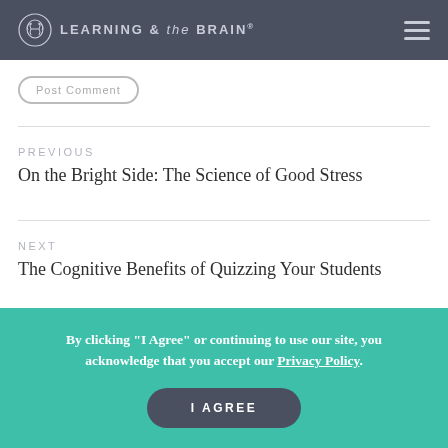LEARNING & the BRAIN®
Post Comment
PREVIOUS
On the Bright Side: The Science of Good Stress
NEXT
The Cognitive Benefits of Quizzing Your Students
By clicking "I Agree" or continuing to use our site, you acknowledge that you accept our Privacy Policy.
I AGREE